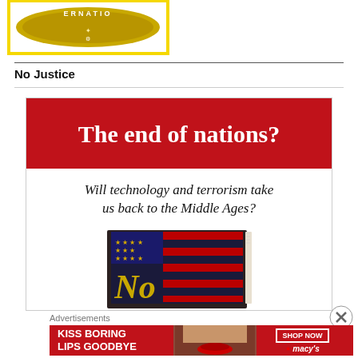[Figure (logo): Circular gold/yellow badge logo with text 'ERNATIO' visible at top, on white background with yellow border]
No Justice
[Figure (illustration): Advertisement for a book. Red banner header reads 'The end of nations?' followed by italic subtitle 'Will technology and terrorism take us back to the Middle Ages?' with an image of a book cover showing an American flag and gold text 'No']
Advertisements
[Figure (illustration): Macy's advertisement: 'KISS BORING LIPS GOODBYE' on red background with woman's face showing red lips, SHOP NOW button, and Macy's star logo]